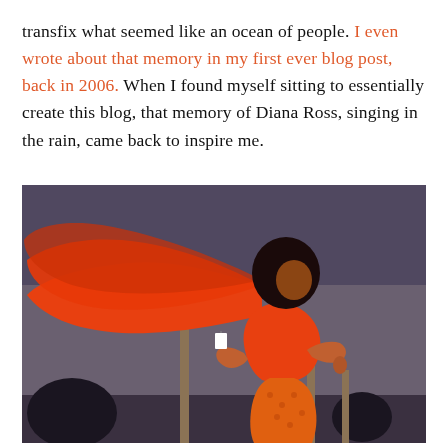transfix what seemed like an ocean of people. I even wrote about that memory in my first ever blog post, back in 2006. When I found myself sitting to essentially create this blog, that memory of Diana Ross, singing in the rain, came back to inspire me.
[Figure (photo): A woman wearing an orange outfit with a voluminous orange fabric billowing behind her in the wind, with a large dark afro hairstyle, standing elevated against a dusky sky background with silhouetted trees.]